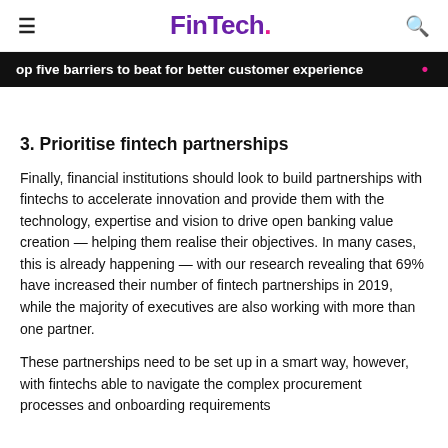FinTech.
Top five barriers to beat for better customer experience •
3. Prioritise fintech partnerships
Finally, financial institutions should look to build partnerships with fintechs to accelerate innovation and provide them with the technology, expertise and vision to drive open banking value creation — helping them realise their objectives. In many cases, this is already happening — with our research revealing that 69% have increased their number of fintech partnerships in 2019, while the majority of executives are also working with more than one partner.
These partnerships need to be set up in a smart way, however, with fintechs able to navigate the complex procurement processes and onboarding requirements